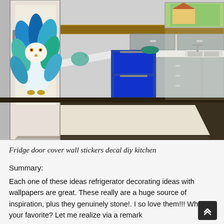[Figure (photo): Kitchen interior scene with a fridge door covered in a colorful owl/peacock wall sticker decal, modern gray cabinets, blue oven, white countertops, and a beige area rug on a tiled floor.]
Fridge door cover wall stickers decal diy kitchen
Summary:
Each one of these ideas refrigerator decorating ideas with wallpapers are great. These really are a huge source of inspiration, plus they genuinely stone!. I so love them!!! What's your favorite? Let me realize via a remark